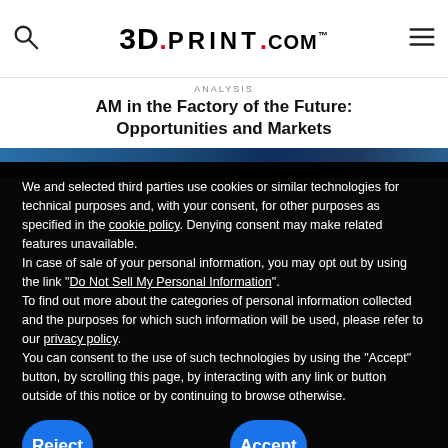3DPrint.com
ANALYSIS · AM in the Factory of the Future: Opportunities and Markets
REQUEST SAMPLE
We and selected third parties use cookies or similar technologies for technical purposes and, with your consent, for other purposes as specified in the cookie policy. Denying consent may make related features unavailable.
In case of sale of your personal information, you may opt out by using the link "Do Not Sell My Personal Information".
To find out more about the categories of personal information collected and the purposes for which such information will be used, please refer to our privacy policy.
You can consent to the use of such technologies by using the "Accept" button, by scrolling this page, by interacting with any link or button outside of this notice or by continuing to browse otherwise.
Reject
Accept
Learn more and customize